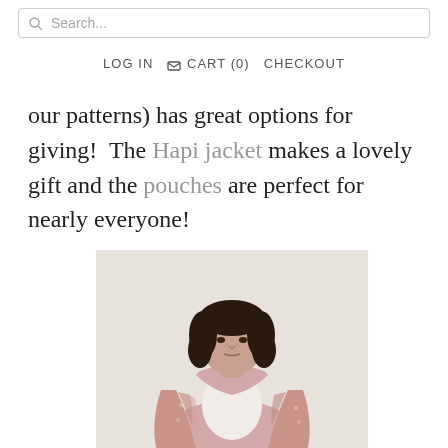Search...
LOG IN  CART (0)  CHECKOUT
our patterns) has great options for giving!  The Hapi jacket makes a lovely gift and the pouches are perfect for nearly everyone!
[Figure (photo): A woman with curly dark hair wearing a pink floral kimono-style jacket over a white top, standing against a light beige background.]